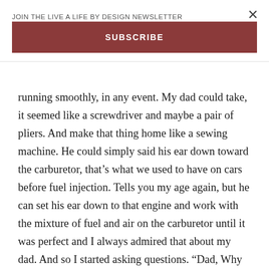JOIN THE LIVE A LIFE BY DESIGN NEWSLETTER
SUBSCRIBE
running smoothly, in any event. My dad could take, it seemed like a screwdriver and maybe a pair of pliers. And make that thing home like a sewing machine. He could simply said his ear down toward the carburetor, that’s what we used to have on cars before fuel injection. Tells you my age again, but he can set his ear down to that engine and work with the mixture of fuel and air on the carburetor until it was perfect and I always admired that about my dad. And so I started asking questions. “Dad, Why does it do this? Why do you do what you do with the